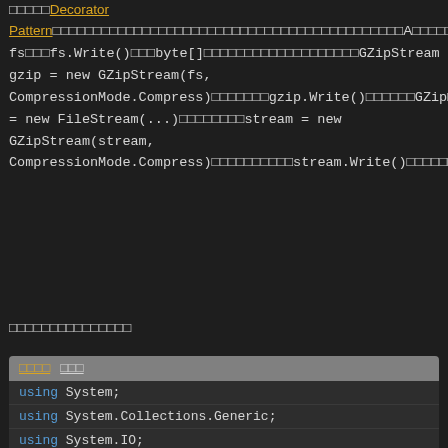□□□□□Decorator Pattern□□□□□□□□□□□□□□□□□□□□□□□□□□□□□□□□□□□□□□□□□□□A□□□□□□□□□□□□□□□□□□□□□□□□□□□□□□□□□□□□□□□□□GZip□□□□GZipStream□□□□□□□□FileStream fs□□□fs.Write()□□□byte[]□□□□□□□□□□□□□□□□□□□GZipStream gzip = new GZipStream(fs, CompressionMode.Compress)□□□□□□□gzip.Write()□□□□□□GZip□□□□□□□□□□□□□□□□□□□□□□stream□□□□□□Stream□FileStream□GZipStream□□□□□□□□□□□□□stream = new FileStream(...)□□□□□□□□stream = new GZipStream(stream, CompressionMode.Compress)□□□□□□□□□□stream.Write()□□□□□□□□□□□□□□□□□□□□□□□
□□□□□□□□□□□□□□□
[Figure (screenshot): Code block header with language selector and copy button showing 'using System;', 'using System.Collections.Generic;', 'using System.IO;', and partial 'using System.IO.C...']
using System;
using System.Collections.Generic;
using System.IO;
using System.IO.C...